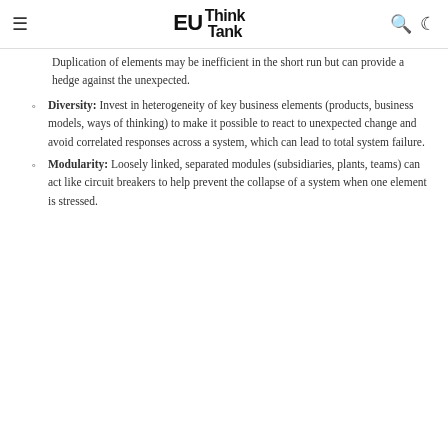EU Think Tank
Duplication of elements may be inefficient in the short run but can provide a hedge against the unexpected.
Diversity: Invest in heterogeneity of key business elements (products, business models, ways of thinking) to make it possible to react to unexpected change and avoid correlated responses across a system, which can lead to total system failure.
Modularity: Loosely linked, separated modules (subsidiaries, plants, teams) can act like circuit breakers to help prevent the collapse of a system when one element is stressed.